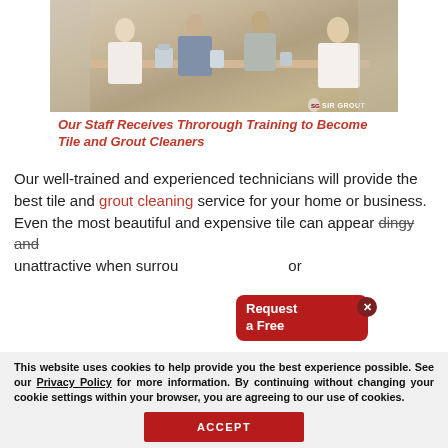[Figure (photo): Photo of staff members receiving training at a table, working on tile and grout cleaning techniques. Sir Grout logo visible in bottom right of photo.]
Our Staff Receives Throrough Training to Become Tile and Grout Cleaners
Our well-trained and experienced technicians will provide the best tile and grout cleaning service for your home or business. Even the most beautiful and expensive tile can appear dingy and unattractive when surrounded or
This website uses cookies to help provide you the best experience possible. See our Privacy Policy for more information. By continuing without changing your cookie settings within your browser, you are agreeing to our use of cookies.